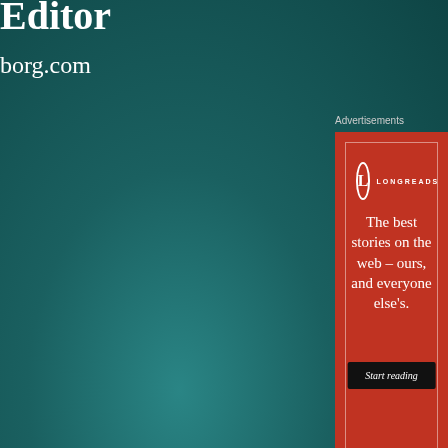Editor
borg.com
Advertisements
[Figure (advertisement): Longreads advertisement with red background. Features Longreads logo (circle with L) and text: 'The best stories on the web – ours, and everyone else's.' with a 'Start reading' button.]
Share this:
Advertisements
[Figure (advertisement): DuckDuckGo advertisement: 'Search, browse, and email with more privacy. All in One Free App' on red background, with DuckDuckGo duck logo on dark background.]